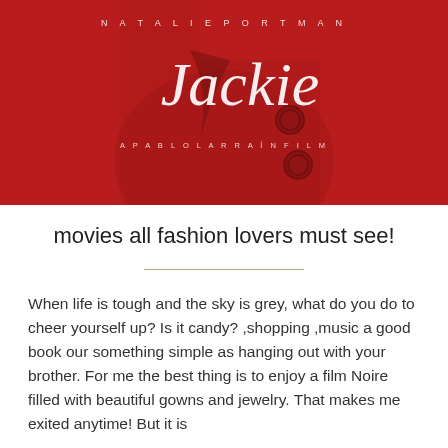[Figure (photo): Movie poster for 'Jackie' – a Pablo Larraín film starring Natalie Portman. Red background showing a figure in a red coat with buttons. White cursive title 'Jackie' overlaid. Text at top reads 'NATALIE PORTMAN' and subtitle 'A PABLO LARRAÍN FILM'.]
movies all fashion lovers must see!
When life is tough and the sky is grey, what do you do to cheer yourself up? Is it candy? ,shopping ,music a good book our something simple as hanging out with your brother. For me the best thing is to enjoy a film Noire filled with beautiful gowns and jewelry. That makes me exited anytime! But it is
Read More »